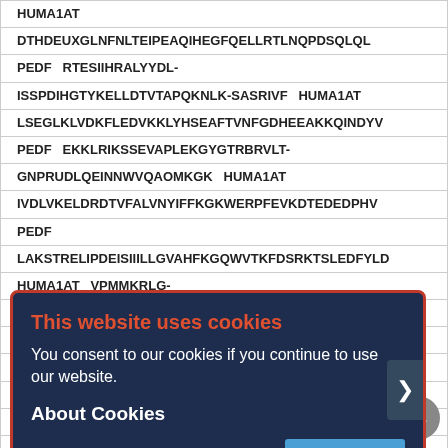| HUMA1AT |
| DTHDEUXGLNFNLTEIPEAQIHEGFQELLRTLNQPDSQLQL |
| PEDF  RTESIIHRALYYDL- |
| ISSPDIHGTYKELLDTVTAPQKNLK-SASRIVF  HUMA1AT |
| LSEGLKLVDKFLEDVKKLYHSEAFTVNFGDHEEAKKQINDYV |
| PEDF  EKKLRIKSSEVAPLEKGYGTRBRVLT- |
| GNPRUDLQEINNWVQAOMKGK  HUMA1AT |
| IVDLVKELDRDTVFALVNYIFFKGKWERPFEVKDTEDEDPHV |
| PEDF |
| LAKSTRELIPDEISIIILLGVAHFKGQWVTKFDSRKTSLEDFYLD |
| HUMA1AT  VPMMKRLG- |
| ---MPWNIQHCKRESSWVLLMKYLGNATAIFFLPDE-GKLQHL |
| PEDF |
| VPMMSDPKAVLRYGLDSDLSCKIAQLPLTGSMSIIFFLPLKVT |
| HUMA1AT |
| ENELTHDIITKFLENEDRRSASLHLPKLSITGTYDLKSVLGQL |
| PEDF |
| EESLTSEFIHDIDRELKTVQAVLTVPKLKLSYEGEVTKSLOEM |
[Figure (screenshot): Cookie consent overlay dialog with dark navy background and red border. Title 'This website uses cookies' in orange/red, body text 'You consent to our cookies if you continue to use our website.' in white, 'About Cookies' subtitle in white bold, and an OK button in blue. A right-arrow navigation button is visible on the right edge.]